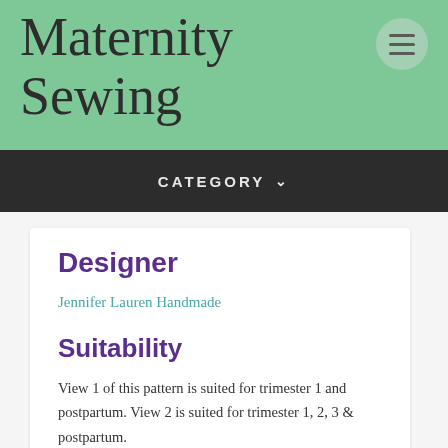Maternity Sewing
CATEGORY
Designer
Jennifer Lauren Handmade
Suitability
View 1 of this pattern is suited for trimester 1 and postpartum. View 2 is suited for trimester 1, 2, 3 & postpartum.